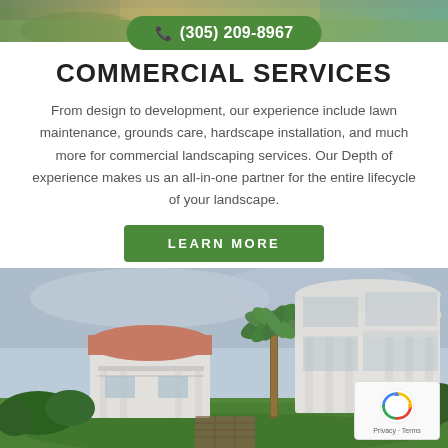[Figure (photo): Aerial/landscape top strip photo showing grass and path]
(305) 209-8967
COMMERCIAL SERVICES
From design to development, our experience include lawn maintenance, grounds care, hardscape installation, and much more for commercial landscaping services. Our Depth of experience makes us an all-in-one partner for the entire lifecycle of your landscape.
[Figure (other): Green LEARN MORE button]
[Figure (photo): Photo of large white luxury house with palm tree, green lawn, and shrubs]